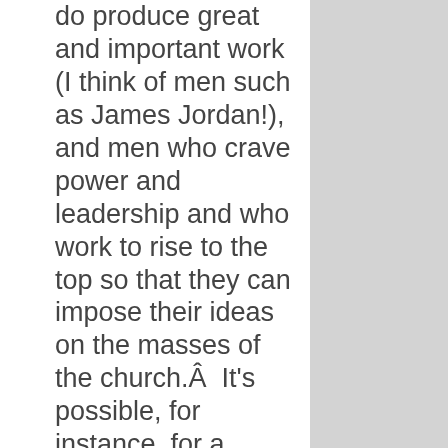do produce great and important work (I think of men such as James Jordan!), and men who crave power and leadership and who work to rise to the top so that they can impose their ideas on the masses of the church.Â  It's possible, for instance, for a pastor to denigrate his elders as if he's the only one with the sense to know what ought to be done, or for a seminary